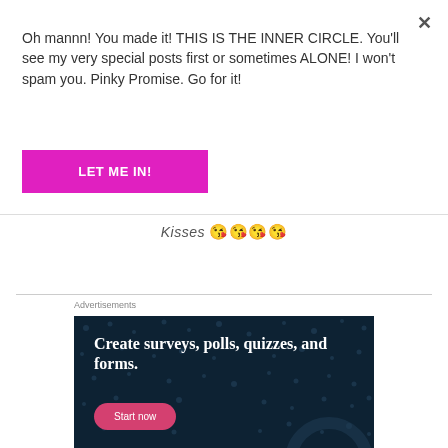×
Oh mannn! You made it! THIS IS THE INNER CIRCLE. You'll see my very special posts first or sometimes ALONE! I won't spam you. Pinky Promise. Go for it!
LET ME IN!
Kisses 😘😘😘😘
Advertisements
[Figure (screenshot): Advertisement banner with dark navy background and dot pattern. Text reads 'Create surveys, polls, quizzes, and forms.' with a pink 'Start now' button.]